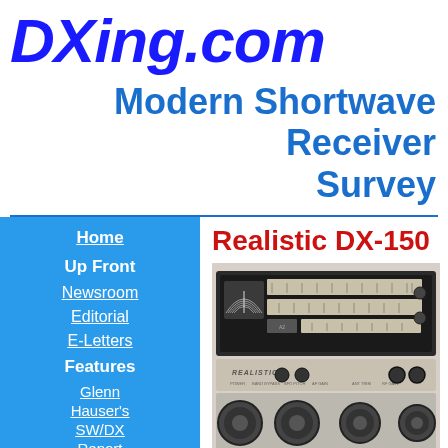DXing.com
Modern Shortwave Receiver Survey
Home
Up Front
Newsroom
Editorial
E-Letters
Features
Glenn Hauser's SW/DX Report
Realistic DX-150
[Figure (photo): Photo of Realistic DX-150 shortwave receiver radio, showing the front panel with tuning dials, frequency scales, meter, and knobs in black and white.]